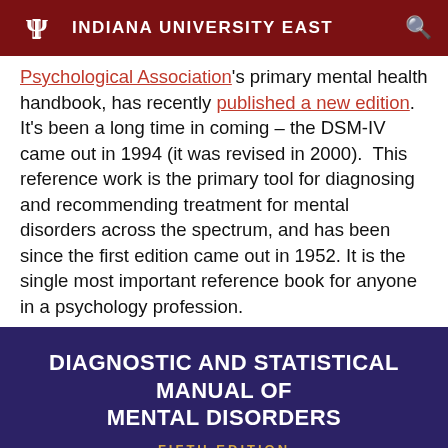INDIANA UNIVERSITY EAST
Psychological Association's primary mental health handbook, has recently published a new edition. It's been a long time in coming – the DSM-IV came out in 1994 (it was revised in 2000). This reference work is the primary tool for diagnosing and recommending treatment for mental disorders across the spectrum, and has been since the first edition came out in 1952. It is the single most important reference book for anyone in a psychology profession.
[Figure (photo): Book cover of the Diagnostic and Statistical Manual of Mental Disorders, Fifth Edition (DSM-5), showing white text on a dark purple/navy background with gold lettering for 'FIFTH EDITION' and large white DSM-5 text at the bottom.]